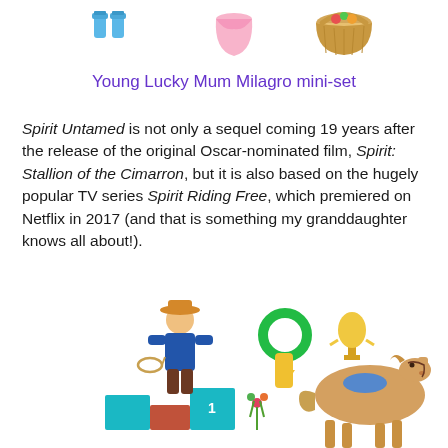[Figure (photo): Playmobil toy accessories: two small blue bottles, a pink dress, and a tan wicker basket with items]
Young Lucky Mum Milagro mini-set
Spirit Untamed is not only a sequel coming 19 years after the release of the original Oscar-nominated film, Spirit: Stallion of the Cimarron, but it is also based on the hugely popular TV series Spirit Riding Free, which premiered on Netflix in 2017 (and that is something my granddaughter knows all about!).
[Figure (photo): Playmobil toy set showing a cowboy figure with lasso, a green ring with yellow ribbon, a golden trophy cup, colorful flowers, teal/red podium blocks, and a tan horse with blue saddle]